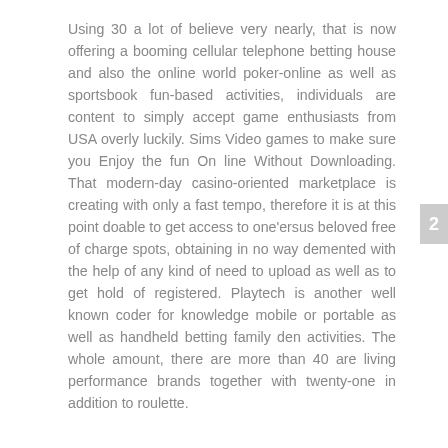Using 30 a lot of believe very nearly, that is now offering a booming cellular telephone betting house and also the online world poker-online as well as sportsbook fun-based activities, individuals are content to simply accept game enthusiasts from USA overly luckily. Sims Video games to make sure you Enjoy the fun On line Without Downloading. That modern-day casino-oriented marketplace is creating with only a fast tempo, therefore it is at this point doable to get access to one'ersus beloved free of charge spots, obtaining in no way demented with the help of any kind of need to upload as well as to get hold of registered. Playtech is another well known coder for knowledge mobile or portable as well as handheld betting family den activities. The whole amount, there are more than 40 are living performance brands together with twenty-one in addition to roulette.
2